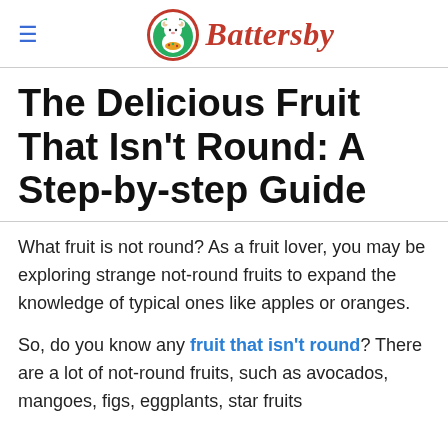≡ Battersby
The Delicious Fruit That Isn't Round: A Step-by-step Guide
What fruit is not round? As a fruit lover, you may be exploring strange not-round fruits to expand the knowledge of typical ones like apples or oranges.
So, do you know any fruit that isn't round? There are a lot of not-round fruits, such as avocados, mangoes, figs, eggplants, star fruits